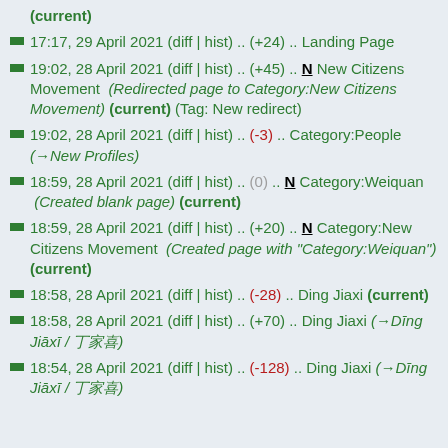(current)
17:17, 29 April 2021 (diff | hist) .. (+24) .. Landing Page
19:02, 28 April 2021 (diff | hist) .. (+45) ...N New Citizens Movement  (Redirected page to Category:New Citizens Movement) (current) (Tag: New redirect)
19:02, 28 April 2021 (diff | hist) .. (-3) .. Category:People (→New Profiles)
18:59, 28 April 2021 (diff | hist) .. (0) ...N Category:Weiquan  (Created blank page) (current)
18:59, 28 April 2021 (diff | hist) .. (+20) ...N Category:New Citizens Movement  (Created page with "Category:Weiquan") (current)
18:58, 28 April 2021 (diff | hist) .. (-28) .. Ding Jiaxi (current)
18:58, 28 April 2021 (diff | hist) .. (+70) .. Ding Jiaxi (→Dīng Jiāxī / 丁家喜)
18:54, 28 April 2021 (diff | hist) .. (-128) .. Ding Jiaxi (→Dīng Jiāxī / 丁家喜)